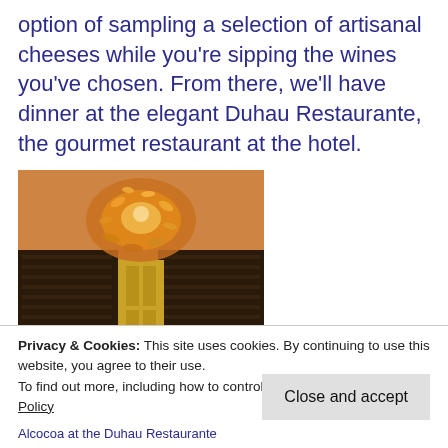option of sampling a selection of artisanal cheeses while you're sipping the wines you've chosen. From there, we'll have dinner at the elegant Duhau Restaurante, the gourmet restaurant at the hotel.
[Figure (photo): Interior photo showing an ornate amber/gold chandelier hanging from a warm-lit ceiling above dark wood wine cellar shelving with a golden door in the background.]
Privacy & Cookies: This site uses cookies. By continuing to use this website, you agree to their use.
To find out more, including how to control cookies, see here: Cookie Policy
Close and accept
Alcocoa at the Duhau Restaurante